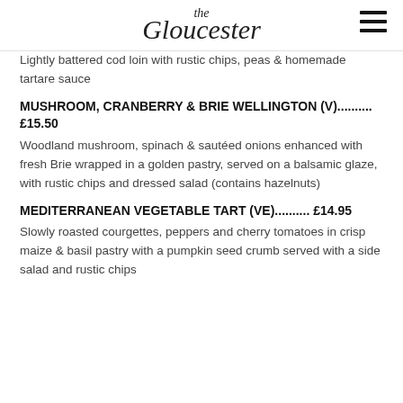the Gloucester
Lightly battered cod loin with rustic chips, peas & homemade tartare sauce
MUSHROOM, CRANBERRY & BRIE WELLINGTON (V).......... £15.50
Woodland mushroom, spinach & sautéed onions enhanced with fresh Brie wrapped in a golden pastry, served on a balsamic glaze, with rustic chips and dressed salad (contains hazelnuts)
MEDITERRANEAN VEGETABLE TART (VE).......... £14.95
Slowly roasted courgettes, peppers and cherry tomatoes in crisp maize & basil pastry with a pumpkin seed crumb served with a side salad and rustic chips